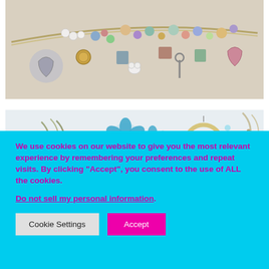[Figure (photo): Close-up photo of a colorful charm bracelet with many charms including a heart locket, beads, coins, keys, and various decorative pendants in multiple colors.]
[Figure (photo): Photo of assorted jewelry pieces on a light background including chains, blue flower earrings, hoop earrings with blue stone, and other necklace chains.]
We use cookies on our website to give you the most relevant experience by remembering your preferences and repeat visits. By clicking “Accept”, you consent to the use of ALL the cookies.
Do not sell my personal information.
Cookie Settings
Accept